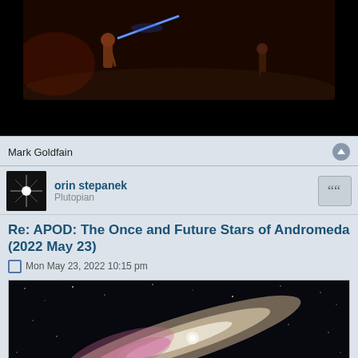[Figure (photo): Dark scene showing two figures in combat with a blue lightsaber visible, against a dark brown/red background. Bottom portion is pure black.]
Mark Goldfain
orin stepanek
Plutopian
Re: APOD: The Once and Future Stars of Andromeda (2022 May 23)
Mon May 23, 2022 10:15 pm
[Figure (photo): Astronomical image of the Andromeda galaxy showing its elongated form with pink/purple nebula regions against a black starfield.]